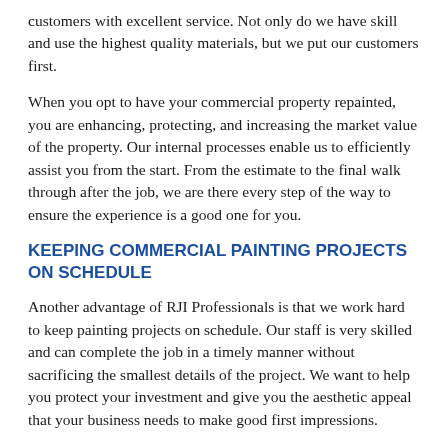customers with excellent service. Not only do we have skill and use the highest quality materials, but we put our customers first.
When you opt to have your commercial property repainted, you are enhancing, protecting, and increasing the market value of the property. Our internal processes enable us to efficiently assist you from the start. From the estimate to the final walk through after the job, we are there every step of the way to ensure the experience is a good one for you.
KEEPING COMMERCIAL PAINTING PROJECTS ON SCHEDULE
Another advantage of RJI Professionals is that we work hard to keep painting projects on schedule. Our staff is very skilled and can complete the job in a timely manner without sacrificing the smallest details of the project. We want to help you protect your investment and give you the aesthetic appeal that your business needs to make good first impressions.